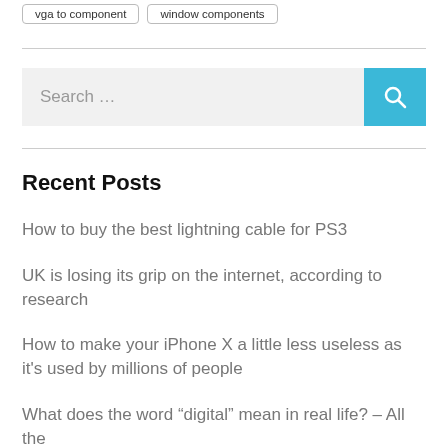vga to component
window components
[Figure (other): Search bar with light gray input field reading 'Search ...' and a cyan/teal search button with magnifying glass icon]
Recent Posts
How to buy the best lightning cable for PS3
UK is losing its grip on the internet, according to research
How to make your iPhone X a little less useless as it's used by millions of people
What does the word “digital” mean in real life? – All the